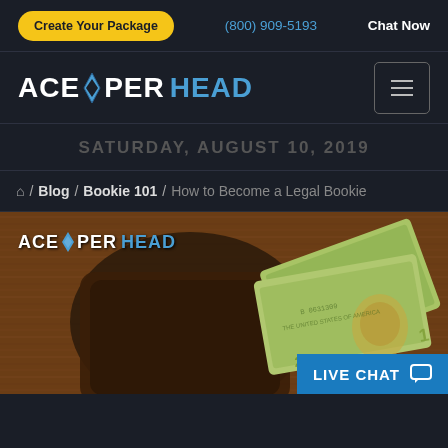Create Your Package | (800) 909-5193 | Chat Now
[Figure (logo): ACE PER HEAD logo with diamond icon in white and blue on dark background, hamburger menu icon on the right]
SATURDAY, AUGUST 10, 2019
Home / Blog / Bookie 101 / How to Become a Legal Bookie
[Figure (photo): Photo of a worn leather wallet and US dollar bills on a wooden surface, with ACE PER HEAD logo overlay in top left corner. A blue LIVE CHAT button with speech bubble icon is in the bottom right corner.]